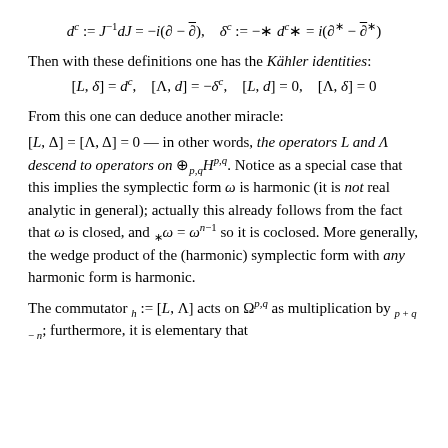Then with these definitions one has the Kähler identities:
From this one can deduce another miracle:
[L,Δ] = [Λ,Δ] = 0 — in other words, the operators L and Λ descend to operators on ⊕_{p,q} H^{p,q}. Notice as a special case that this implies the symplectic form ω is harmonic (it is not real analytic in general); actually this already follows from the fact that ω is closed, and *ω = ω^{n-1} so it is coclosed. More generally, the wedge product of the (harmonic) symplectic form with any harmonic form is harmonic.
The commutator h := [L, Λ] acts on Ω^{p,q} as multiplication by p + q − n; furthermore, it is elementary that